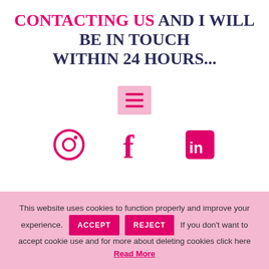CONTACTING US AND I WILL BE IN TOUCH WITHIN 24 HOURS...
[Figure (infographic): Pink square menu/hamburger icon with three horizontal bars]
[Figure (infographic): Row of three social media icons in pink: Instagram (circle with camera), Facebook (f letter), LinkedIn (in square)]
This website uses cookies to function properly and improve your experience. ACCEPT REJECT If you don't want to accept cookie use and for more about deleting cookies click here Read More